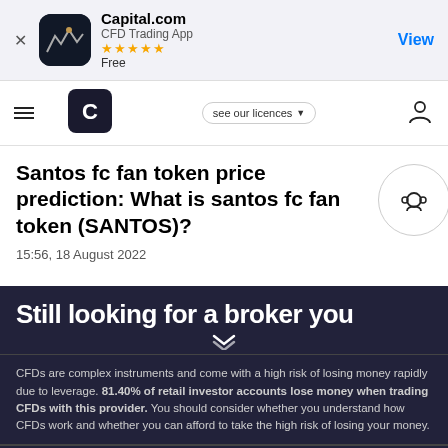[Figure (screenshot): App store banner for Capital.com CFD Trading App with 5-star rating, Free label, and View button]
[Figure (logo): Capital.com navigation bar with hamburger menu, logo, 'see our licences' button, and user icon]
Santos fc fan token price prediction: What is santos fc fan token (SANTOS)?
15:56, 18 August 2022
Still looking for a broker you
CFDs are complex instruments and come with a high risk of losing money rapidly due to leverage. 81.40% of retail investor accounts lose money when trading CFDs with this provider. You should consider whether you understand how CFDs work and whether you can afford to take the high risk of losing your money.
By using the Capital.com website you agree to the use of cookies.